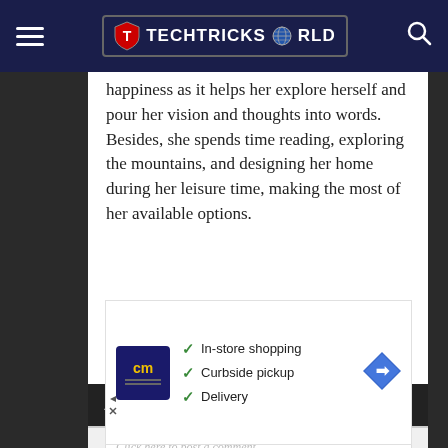TECHTRICKSWORLD
happiness as it helps her explore herself and pour her vision and thoughts into words. Besides, she spends time reading, exploring the mountains, and designing her home during her leisure time, making the most of her available options.
ADD COMMENT
Click here to post a comment
[Figure (infographic): Advertisement showing CM logo with checkmarks for In-store shopping, Curbside pickup, Delivery and a navigation arrow icon]